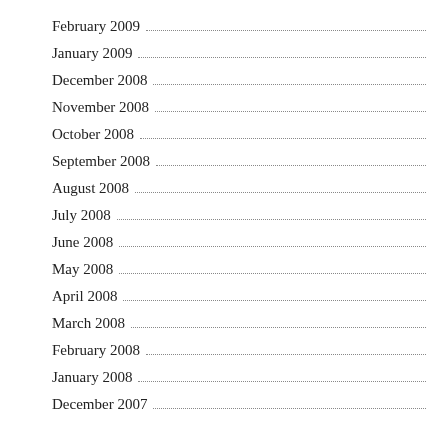February 2009
January 2009
December 2008
November 2008
October 2008
September 2008
August 2008
July 2008
June 2008
May 2008
April 2008
March 2008
February 2008
January 2008
December 2007